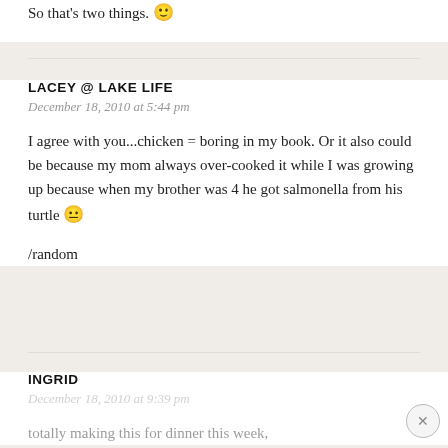So that's two things. 🙂
LACEY @ LAKE LIFE
December 18, 2010 at 5:44 pm
I agree with you...chicken = boring in my book. Or it also could be because my mom always over-cooked it while I was growing up because when my brother was 4 he got salmonella from his turtle 😐

/random
INGRID
December 18, 2010 at 9:39 pm
totally making this for dinner this week,